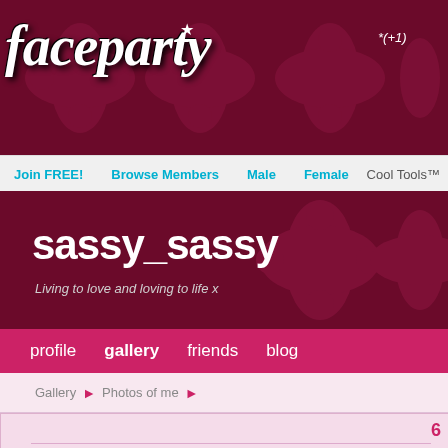[Figure (logo): Faceparty logo in white italic script font on dark maroon damask background, with a star above the letter 'a', and text '*(+1)' to the right]
Join FREE!   Browse Members   Male   Female   Cool Tools™
sassy_sassy
Living to love and loving to life x
profile   gallery   friends   blog
Gallery ▶ Photos of me ▶
6